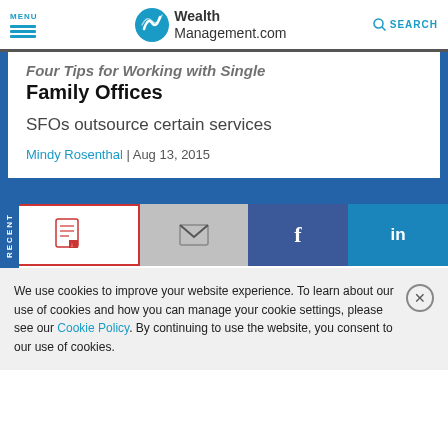MENU | WealthManagement.com | SEARCH
Four Tips for Working with Single Family Offices
SFOs outsource certain services
Mindy Rosenthal | Aug 13, 2015
[Figure (screenshot): Social sharing buttons: PDF download (highlighted with red border), email, Facebook, LinkedIn]
We use cookies to improve your website experience. To learn about our use of cookies and how you can manage your cookie settings, please see our Cookie Policy. By continuing to use the website, you consent to our use of cookies.